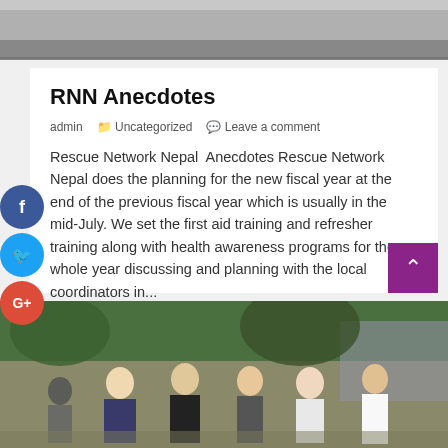[Figure (photo): Top portion of an outdoor photo, grayish scene]
RNN Anecdotes
admin   Uncategorized   Leave a comment
Rescue Network Nepal  Anecdotes Rescue Network Nepal does the planning for the new fiscal year at the end of the previous fiscal year which is usually in the mid-July. We set the first aid training and refresher training along with health awareness programs for the whole year discussing and planning with the local coordinators in...
Read More
[Figure (photo): Group of people outdoors, appears to be a community or training event in Nepal]